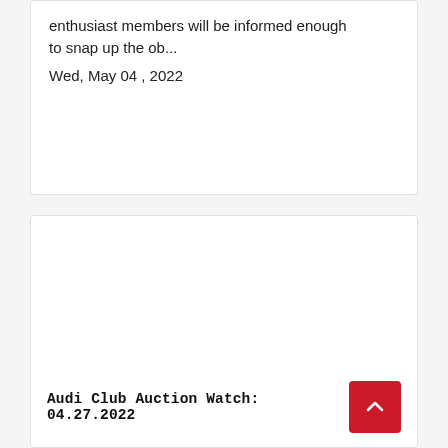enthusiast members will be informed enough to snap up the ob...
Wed, May 04 , 2022
Audi Club Auction Watch: 04.27.2022